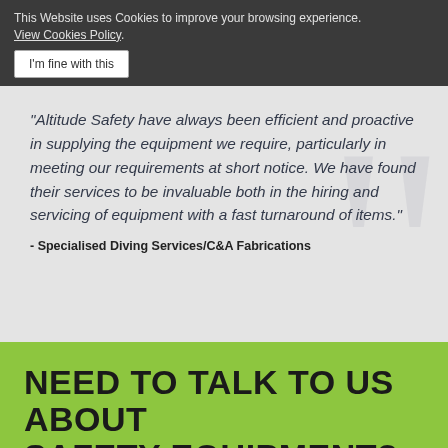This Website uses Cookies to improve your browsing experience. View Cookies Policy. I'm fine with this
"Altitude Safety have always been efficient and proactive in supplying the equipment we require, particularly in meeting our requirements at short notice. We have found their services to be invaluable both in the hiring and servicing of equipment with a fast turnaround of items."
- Specialised Diving Services/C&A Fabrications
NEED TO TALK TO US ABOUT SAFETY EQUIPMENT?